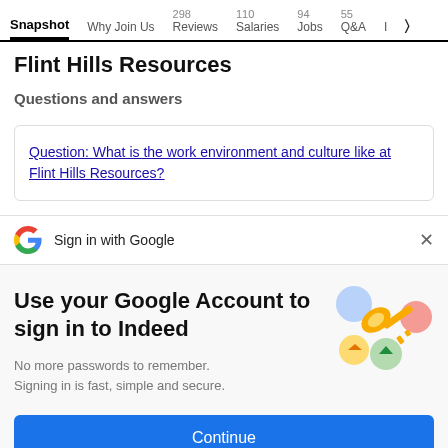Snapshot | Why Join Us | 298 Reviews | 110 Salaries | 94 Jobs | 55 Q&A | I >
Flint Hills Resources
Questions and answers
Question: What is the work environment and culture like at Flint Hills Resources?
Sign in with Google
Use your Google Account to sign in to Indeed
No more passwords to remember. Signing in is fast, simple and secure.
[Figure (illustration): Colorful key illustration with Google-themed circles]
Continue